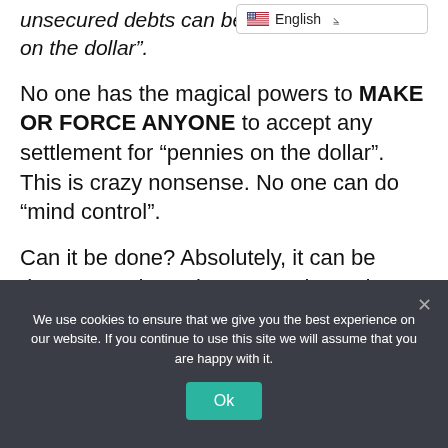unsecured debts can be… on the dollar".
[Figure (screenshot): Language selector widget showing English with US flag and chevron dropdown]
No one has the magical powers to MAKE OR FORCE ANYONE to accept any settlement for “pennies on the dollar”. This is crazy nonsense. No one can do “mind control”.
Can it be done? Absolutely, it can be done. How do we know? We have done it. We have showed consumers how to settle accounts for as little as 5 cents on the dollar. We give our clients financial advice on how to settle
We use cookies to ensure that we give you the best experience on our website. If you continue to use this site we will assume that you are happy with it.